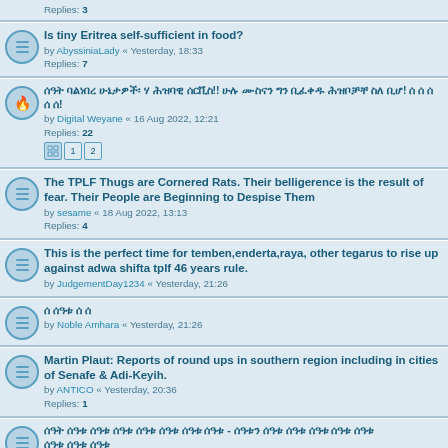Replies: 3
Is tiny Eritrea self-sufficient in food? by AbyssiniaLady « Yesterday, 18:33 Replies: 7
[Amharic text] by Digital Weyane « 16 Aug 2022, 12:21 Replies: 22
The TPLF Thugs are Cornered Rats. Their belligerence is the result of fear. Their People are Beginning to Despise Them by sesame « 18 Aug 2022, 13:13 Replies: 4
This is the perfect time for temben,enderta,raya, other tegarus to rise up against adwa shifta tplf 46 years rule. by JudgementDay1234 « Yesterday, 21:26
[Amharic text] by Noble Amhara « Yesterday, 21:26
Martin Plaut: Reports of round ups in southern region including in cities of Senafe & Adi-Keyih. by ANTICO « Yesterday, 20:36 Replies: 1
[Amharic text] by sarcasm « Yesterday, 20:32
(((JUST IN))):Russian Ambassador 2 My Eritrea Mozgo Gave A Press Briefing On Russia's War In Ukraine!!! WEEY GUUD !!! by tarik « Yesterday, 20:26